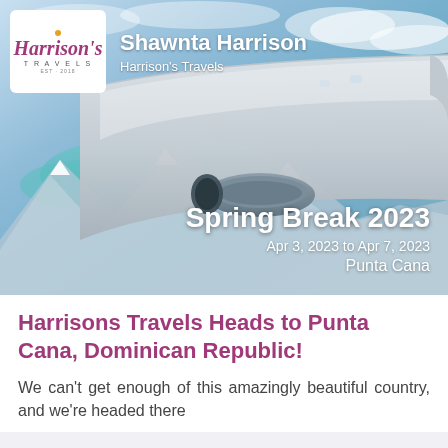[Figure (photo): Aerial view of airplane wing over snowy mountains and teal water, with sky and clouds in background. Header shows Harrison's Travels logo and Shawnta Harrison name. Overlay text shows Spring Break 2023, Apr 3, 2023 to Apr 7, 2023, Punta Cana.]
Harrisons Travels Heads to Punta Cana, Dominican Republic!
We can't get enough of this amazingly beautiful country, and we're headed there